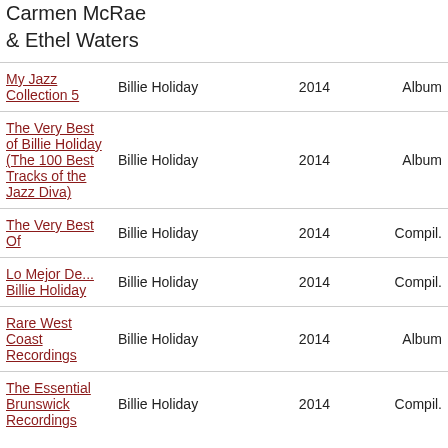| Title | Artist | Year | Type |
| --- | --- | --- | --- |
| Carmen McRae & Ethel Waters |  |  |  |
| My Jazz Collection 5 | Billie Holiday | 2014 | Album |
| The Very Best of Billie Holiday (The 100 Best Tracks of the Jazz Diva) | Billie Holiday | 2014 | Album |
| The Very Best Of | Billie Holiday | 2014 | Compil. |
| Lo Mejor De... Billie Holiday | Billie Holiday | 2014 | Compil. |
| Rare West Coast Recordings | Billie Holiday | 2014 | Album |
| The Essential Brunswick Recordings | Billie Holiday | 2014 | Compil. |